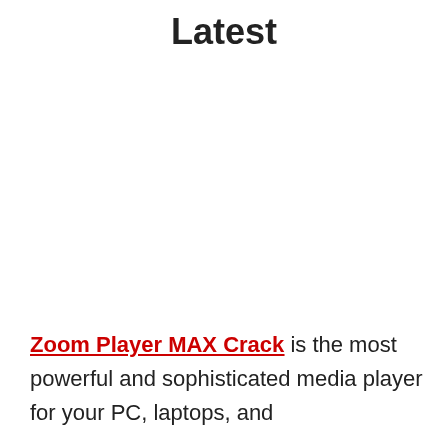Latest
Zoom Player MAX Crack is the most powerful and sophisticated media player for your PC, laptops, and